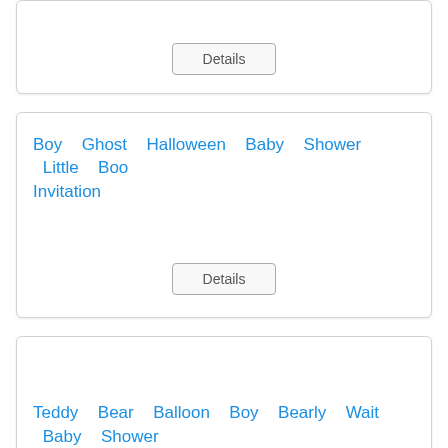Details
Boy Ghost Halloween Baby Shower Little Boo Invitation
Details
Teddy Bear Balloon Boy Bearly Wait Baby Shower Invitation